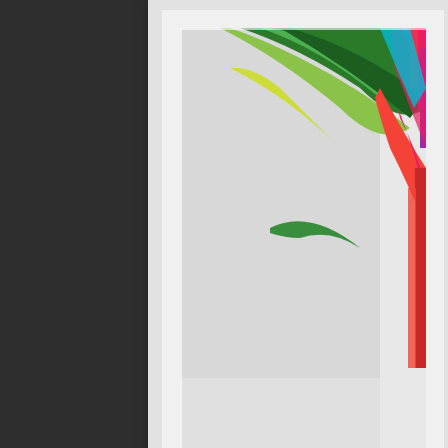[Figure (photo): A framed fine art print in a white frame with white matting, showing a colorful abstract portrait with vivid paint colors — green, yellow, red, pink, teal — splashed across a face/figure against a white background. Only the lower-left corner of the framed print is visible, with bright abstract colors visible at the upper right of the image area.]
Christ
Paper Collec
[Figure (photo): Bottom portion of a second white-framed fine art print, showing only the lower frame edge with white mat and frame border against a dark background.]